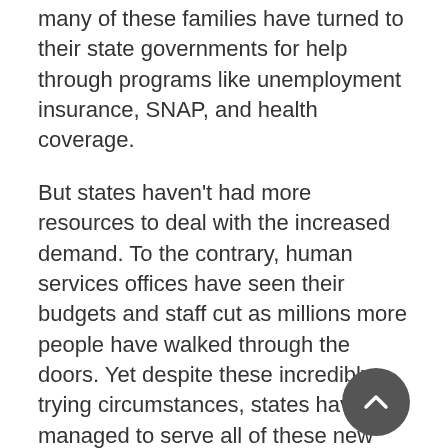many of these families have turned to their state governments for help through programs like unemployment insurance, SNAP, and health coverage.
But states haven't had more resources to deal with the increased demand. To the contrary, human services offices have seen their budgets and staff cut as millions more people have walked through the doors. Yet despite these incredibly trying circumstances, states have managed to serve all of these new families in need, and several of them have actually improved their service delivery through the downturn.
So this initiative is aimed at building upon the kinds of innovation states have undertaken to meet recent increased demand, and again,